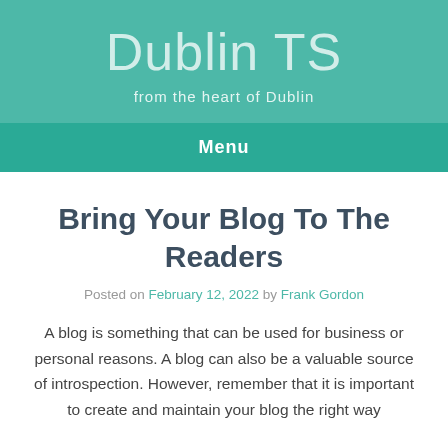Dublin TS
from the heart of Dublin
Menu
Bring Your Blog To The Readers
Posted on February 12, 2022 by Frank Gordon
A blog is something that can be used for business or personal reasons. A blog can also be a valuable source of introspection. However, remember that it is important to create and maintain your blog the right way